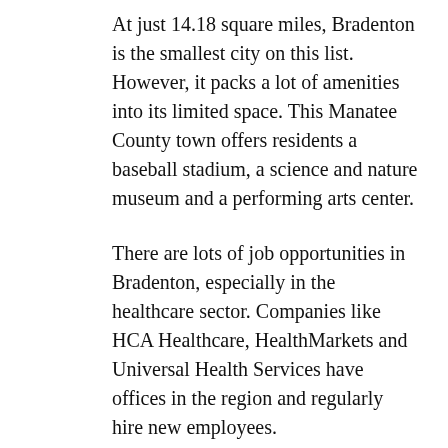At just 14.18 square miles, Bradenton is the smallest city on this list. However, it packs a lot of amenities into its limited space. This Manatee County town offers residents a baseball stadium, a science and nature museum and a performing arts center.
There are lots of job opportunities in Bradenton, especially in the healthcare sector. Companies like HCA Healthcare, HealthMarkets and Universal Health Services have offices in the region and regularly hire new employees.
Should you decide to rent an apartment in Bradenton, you will also have beaches like Longboat Key and Anna Maria Island just a stone's throw from your front door.